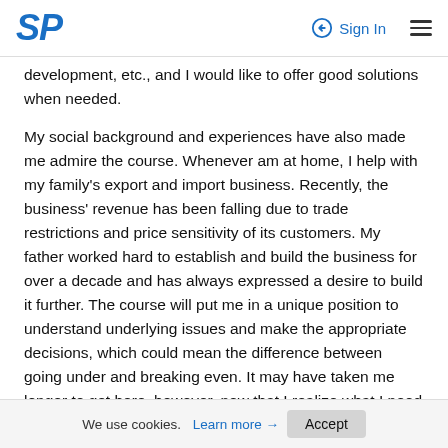SP | Sign In
development, etc., and I would like to offer good solutions when needed.
My social background and experiences have also made me admire the course. Whenever am at home, I help with my family's export and import business. Recently, the business' revenue has been falling due to trade restrictions and price sensitivity of its customers. My father worked hard to establish and build the business for over a decade and has always expressed a desire to build it further. The course will put me in a unique position to understand underlying issues and make the appropriate decisions, which could mean the difference between going under and breaking even. It may have taken me longer to get here, however, now that I realize what I need to do, I hope to get better control of what happens in the future. A degree in
We use cookies. Learn more → Accept